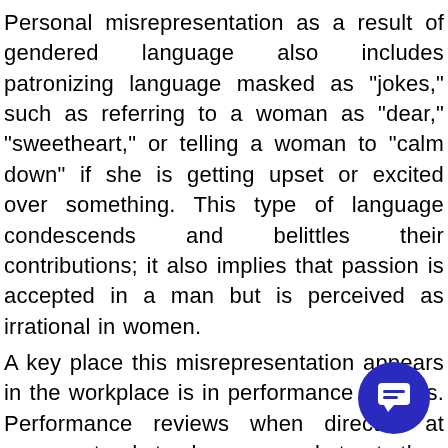Personal misrepresentation as a result of gendered language also includes patronizing language masked as "jokes," such as referring to a woman as "dear," "sweetheart," or telling a woman to "calm down" if she is getting upset or excited over something. This type of language condescends and belittles their contributions; it also implies that passion is accepted in a man but is perceived as irrational in women.
A key place this misrepresentation appears in the workplace is in performance reviews. Performance reviews when directed at women tend to be more abstract than those given to men. For example, being viewed as aggressive towards a project would more likely be seen as a positive aspect when directed at a male colleague, but